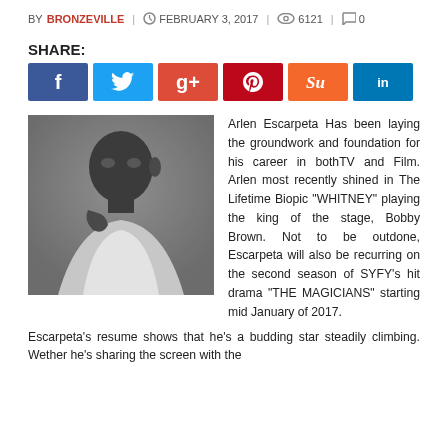BY BRONZEVILLE / FEBRUARY 3, 2017 / 6121 / 0
SHARE:
[Figure (infographic): Social share buttons: Facebook (blue), Twitter (light blue), Google+ (red-orange), Pinterest (dark red), StumbleUpon (orange), LinkedIn (blue)]
[Figure (photo): Black and white portrait photo of Arlen Escarpeta, a man with short hair wearing a white shirt, hand near his chin, looking at camera]
Arlen Escarpeta Has been laying the groundwork and foundation for his career in bothTV and Film. Arlen most recently shined in The Lifetime Biopic "WHITNEY" playing the king of the stage, Bobby Brown. Not to be outdone, Escarpeta will also be recurring on the second season of SYFY's hit drama "THE MAGICIANS" starting mid January of 2017. Escarpeta's resume shows that he's a budding star steadily climbing. Wether he's sharing the screen with the